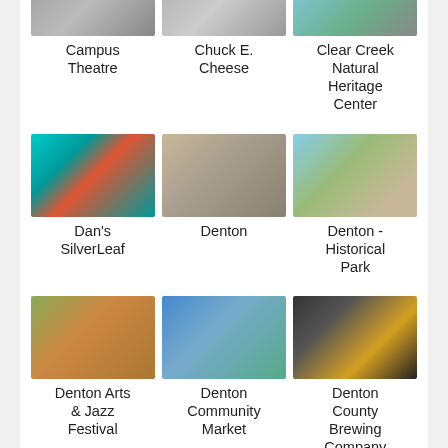[Figure (photo): Campus Theatre building photo (partially visible at top)]
Campus Theatre
[Figure (photo): Chuck E. Cheese restaurant photo (partially visible at top)]
Chuck E. Cheese
[Figure (photo): Clear Creek Natural Heritage Center photo (partially visible at top)]
Clear Creek Natural Heritage Center
[Figure (photo): Dan's SilverLeaf bar with teal exterior]
Dan's SilverLeaf
[Figure (photo): Denton historic building exterior]
Denton
[Figure (photo): Denton Historical Park Victorian house]
Denton - Historical Park
[Figure (photo): Denton Arts & Jazz Festival outdoor crowd]
Denton Arts & Jazz Festival
[Figure (photo): Denton Community Market outdoor vendor tents]
Denton Community Market
[Figure (photo): Denton County Brewing Company with beer glass]
Denton County Brewing Company